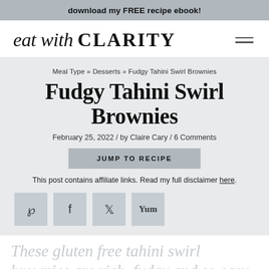download my FREE recipe ebook!
eat with CLARITY
Meal Type » Desserts » Fudgy Tahini Swirl Brownies
Fudgy Tahini Swirl Brownies
February 25, 2022 / by Claire Cary / 6 Comments
JUMP TO RECIPE
This post contains affiliate links. Read my full disclaimer here.
[Figure (other): Social sharing icons: Pinterest (P), Facebook (f), Twitter bird, Yum]
These gluten free tahini swirl brownies are rich, fudgy and so easy to make